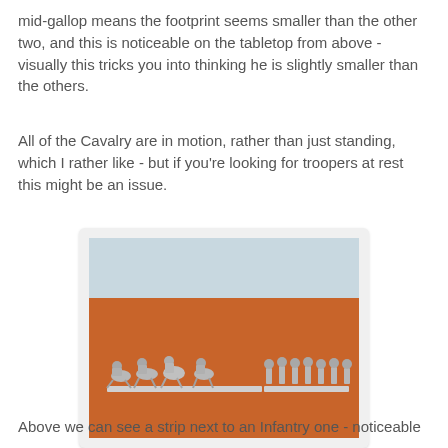mid-gallop means the footprint seems smaller than the other two, and this is noticeable on the tabletop from above - visually this tricks you into thinking he is slightly smaller than the others.
All of the Cavalry are in motion, rather than just standing, which I rather like - but if you're looking for troopers at rest this might be an issue.
[Figure (photo): Photo of two strips of small silver/metal cavalry and infantry miniature figures on an orange-brown surface. The cavalry figures on the left are in galloping poses, while the infantry figures on the right are standing upright.]
Above we can see a strip next to an Infantry one - noticeable